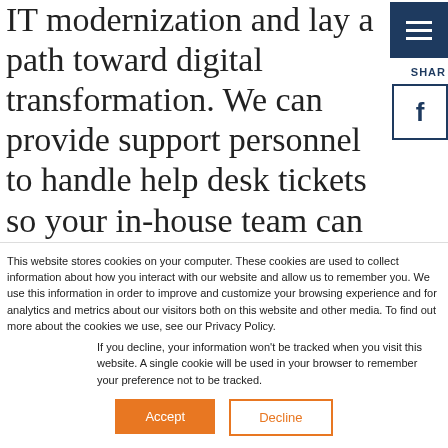IT modernization and lay a path toward digital transformation. We can provide support personnel to handle help desk tickets so your in-house team can focus on key initiatives. Or, we can place experienced engineers and strategists to help you develop your technology roadmap
This website stores cookies on your computer. These cookies are used to collect information about how you interact with our website and allow us to remember you. We use this information in order to improve and customize your browsing experience and for analytics and metrics about our visitors both on this website and other media. To find out more about the cookies we use, see our Privacy Policy.
If you decline, your information won't be tracked when you visit this website. A single cookie will be used in your browser to remember your preference not to be tracked.
Accept
Decline